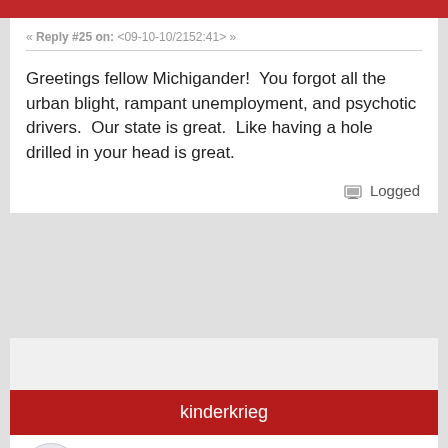« Reply #25 on: <09-10-10/2152:41> »
Greetings fellow Michigander!  You forgot all the urban blight, rampant unemployment, and psychotic drivers.  Our state is great.  Like having a hole drilled in your head is great.
Logged
kinderkrieg
Newb
Posts: 79